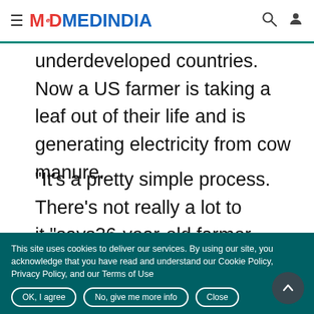MEDINDIA
underdeveloped countries. Now a US farmer is taking a leaf out of their life and is generating electricity from cow manure.
"It's a pretty simple process. There's not really a lot to it,"says36-year-old farmer Shawn Saylor of Pittsburgh.
[Figure (photo): Food image showing what appears to be a plate with eggs and utensils]
This site uses cookies to deliver our services. By using our site, you acknowledge that you have read and understand our Cookie Policy, Privacy Policy, and our Terms of Use